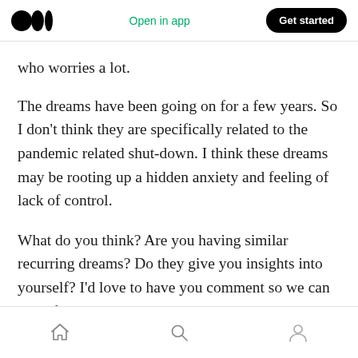Medium logo | Open in app | Get started
who worries a lot.
The dreams have been going on for a few years. So I don’t think they are specifically related to the pandemic related shut-down. I think these dreams may be rooting up a hidden anxiety and feeling of lack of control.
What do you think? Are you having similar recurring dreams? Do they give you insights into yourself? I’d love to have you comment so we can learn from each other.
Home | Search | Profile